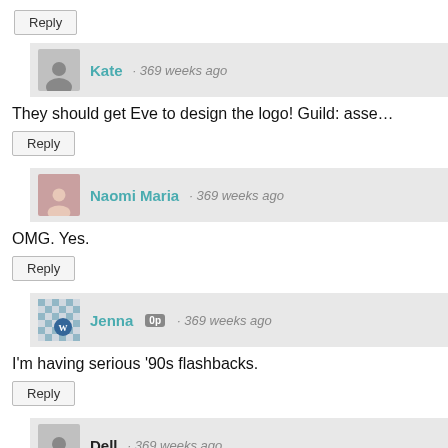Reply
Kate · 369 weeks ago
They should get Eve to design the logo! Guild: asse…
Reply
Naomi Maria · 369 weeks ago
OMG. Yes.
Reply
Jenna 0p · 369 weeks ago
I'm having serious '90s flashbacks.
Reply
Dell · 369 weeks ago
"Give it a counter..."